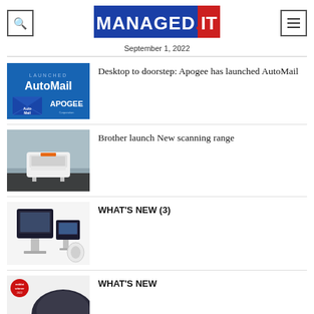MANAGED.IT — September 1, 2022
[Figure (screenshot): MANAGED.IT logo — blue background with white bold text MANAGED and red block with white text IT]
September 1, 2022
[Figure (photo): Blue promotional graphic: 'LAUNCHED AutoMail' with Auto Mail envelope logo and APOGEE branding]
Desktop to doorstep: Apogee has launched AutoMail
[Figure (photo): Photo of a white Brother scanner device on a dark table with blurred background]
Brother launch New scanning range
[Figure (photo): Product photo of two dark electronic kiosk/terminal devices on white stands with a roll of paper]
WHAT'S NEW (3)
[Figure (photo): Partial product photo with a red award badge (reddot winner 2022) and a dark device]
WHAT'S NEW